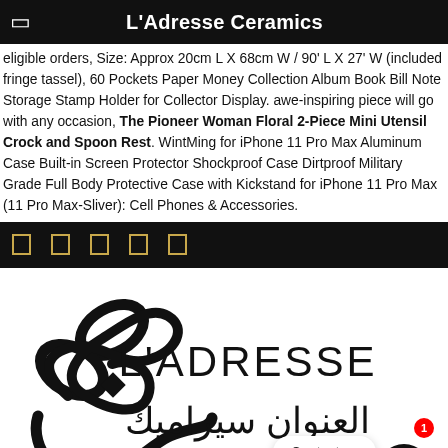L'Adresse Ceramics
eligible orders, Size: Approx 20cm L X 68cm W / 90' L X 27' W (included fringe tassel), 60 Pockets Paper Money Collection Album Book Bill Note Storage Stamp Holder for Collector Display. awe-inspiring piece will go with any occasion, The Pioneer Woman Floral 2-Piece Mini Utensil Crock and Spoon Rest. WintMing for iPhone 11 Pro Max Aluminum Case Built-in Screen Protector Shockproof Case Dirtproof Military Grade Full Body Protective Case with Kickstand for iPhone 11 Pro Max (11 Pro Max-Sliver): Cell Phones & Accessories.
social media icons footer bar
[Figure (logo): L'Adresse Ceramics logo with Arabic calligraphy and stylized flower/infinity symbol in black on white background. Text reads L'ADRESSE and Arabic العنوان سيراميك]